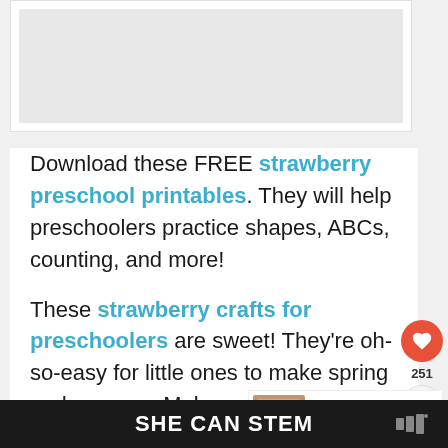[Figure (photo): Top image placeholder area, light gray/white rectangle representing a photo]
Download these FREE strawberry preschool printables. They will help preschoolers practice shapes, ABCs, counting, and more!
These strawberry crafts for preschoolers are sweet! They're oh-so-easy for little ones to make spring and summer. Make one or
SHE CAN STEM